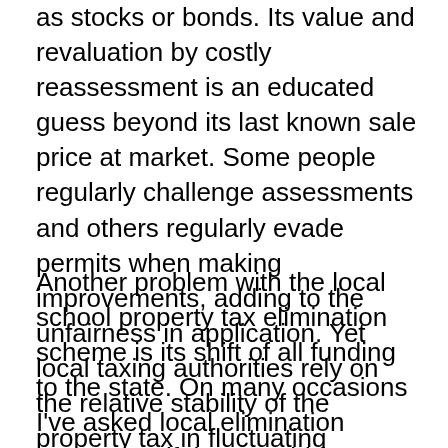as stocks or bonds.  Its value and revaluation by costly reassessment is an educated guess beyond its last known sale price at market.  Some people regularly challenge assessments and others regularly evade permits when making improvements, adding to the unfairness in application.  Yet local taxing authorities rely on the relative stability of the property tax in fluctuating economic conditions, to ease budgeting.
Another problem with the local school property tax elimination scheme is its shift of all funding to the state.  On many occasions I've asked local elimination supporters if they would favor shifting all school funding to the Federal level.  I've never gotten one expression of agreement.  They know control would go to the source of the funding, yet are so frustrated with high and rising